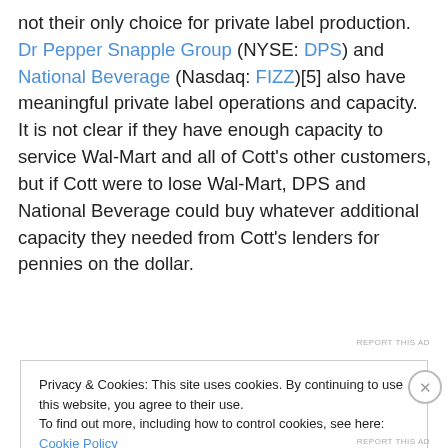not their only choice for private label production. Dr Pepper Snapple Group (NYSE: DPS) and National Beverage (Nasdaq: FIZZ)[5] also have meaningful private label operations and capacity. It is not clear if they have enough capacity to service Wal-Mart and all of Cott's other customers, but if Cott were to lose Wal-Mart, DPS and National Beverage could buy whatever additional capacity they needed from Cott's lenders for pennies on the dollar.
REPORT THIS AD
Privacy & Cookies: This site uses cookies. By continuing to use this website, you agree to their use.
To find out more, including how to control cookies, see here: Cookie Policy
Close and accept
REPORT THIS AD